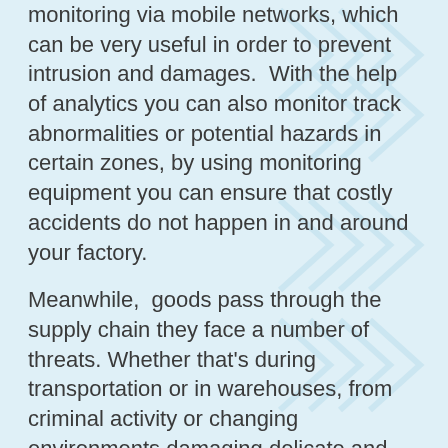monitoring via mobile networks, which can be very useful in order to prevent intrusion and damages.  With the help of analytics you can also monitor track abnormalities or potential hazards in certain zones, by using monitoring equipment you can ensure that costly accidents do not happen in and around your factory.
Meanwhile,  goods pass through the supply chain they face a number of threats. Whether that's during transportation or in warehouses, from criminal activity or changing environments damaging delicate and perishable goods.  With remote monitoring in place the whole supply chain can benefit from optimised security, ensuring goods arrive when they are supposed to and without damage – minimising disruption to business.
Having high-quality CCTV means you will be able